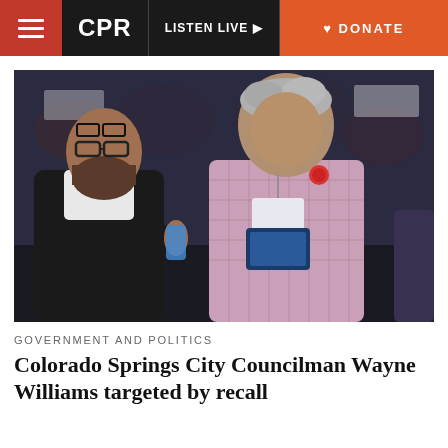CPR | LISTEN LIVE | DONATE
[Figure (photo): Two men talking at an indoor event venue; one wearing a black vest with a beard, the other in a pink/lavender checked shirt with a name badge and lanyard, crowd visible in background]
GOVERNMENT AND POLITICS
Colorado Springs City Councilman Wayne Williams targeted by recall